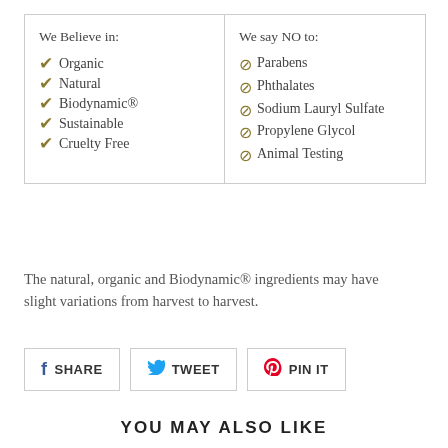We Believe in:
✔ Organic
✔ Natural
✔ Biodynamic®
✔ Sustainable
✔ Cruelty Free
We say NO to:
🚫 Parabens
🚫 Phthalates
🚫 Sodium Lauryl Sulfate
🚫 Propylene Glycol
🚫 Animal Testing
The natural, organic and Biodynamic® ingredients may have slight variations from harvest to harvest.
SHARE   TWEET   PIN IT
YOU MAY ALSO LIKE